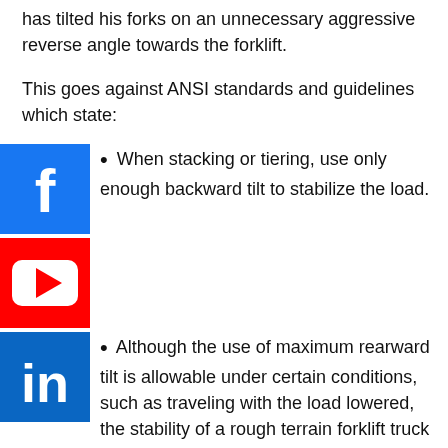has tilted his forks on an unnecessary aggressive reverse angle towards the forklift.
This goes against ANSI standards and guidelines which state:
[Figure (logo): Facebook logo icon - blue square with white F]
When stacking or tiering, use only enough backward tilt to stabilize the load.
[Figure (logo): YouTube logo icon - red square with white play button]
[Figure (logo): LinkedIn logo icon - blue square with white in]
Although the use of maximum rearward tilt is allowable under certain conditions, such as traveling with the load lowered, the stability of a rough terrain forklift truck as determined by the tests outlined in para. 8.6 does not encompass consideration for excessive tilt at high elevations or the operation of truck with excessive off-center loads.